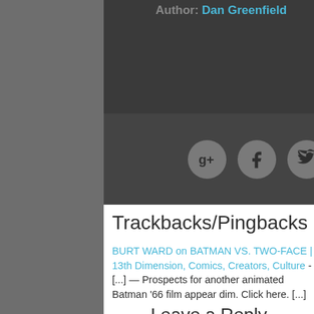Author: Dan Greenfield
[Figure (other): Social sharing icons: Google+, Facebook, Twitter as circular grey buttons]
Trackbacks/Pingbacks
BURT WARD on BATMAN VS. TWO-FACE | 13th Dimension, Comics, Creators, Culture - [...] — Prospects for another animated Batman '66 film appear dim. Click here. [...]
Leave a Reply